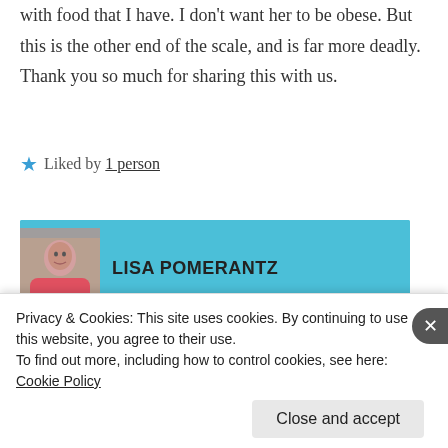with food that I have. I don't want her to be obese. But this is the other end of the scale, and is far more deadly. Thank you so much for sharing this with us.
★ Liked by 1 person
LISA POMERANTZ
NOVEMBER 22, 2018 AT 8:45 AM | REPLY
Privacy & Cookies: This site uses cookies. By continuing to use this website, you agree to their use.
To find out more, including how to control cookies, see here: Cookie Policy
Close and accept